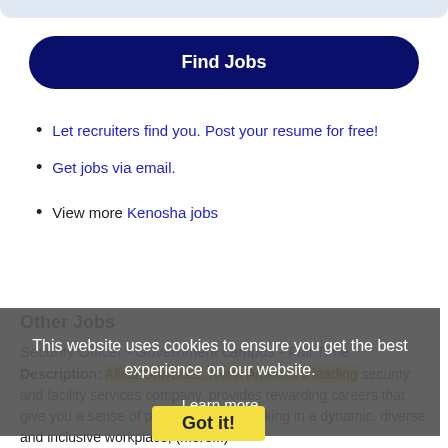[Figure (other): Top rounded bar/search input area in light blue-grey]
Find Jobs
Let recruiters find you. Post your resume for free!
Get jobs via email.
View more Kenosha jobs
Other Jobs
Security Officer - Government campus - Full Time
Description: Allied Universal, North America s leading security and facility services company, provides rewarding careers that give you a sense of purpose. While working in a dynamic, diverse and inclusive workplace, (more...)
This website uses cookies to ensure you get the best experience on our website. Learn more Got it!